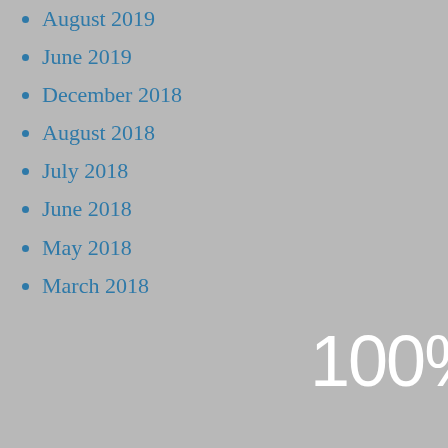August 2019
June 2019
December 2018
August 2018
July 2018
June 2018
May 2018
March 2018
January 2018
RECENT POSTS
Chatsworth
Star Trek Physics